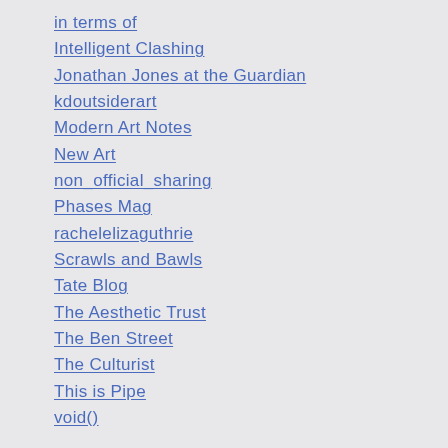in terms of
Intelligent Clashing
Jonathan Jones at the Guardian
kdoutsiderart
Modern Art Notes
New Art
non_official_sharing
Phases Mag
rachelelizaguthrie
Scrawls and Bawls
Tate Blog
The Aesthetic Trust
The Ben Street
The Culturist
This is Pipe
void()